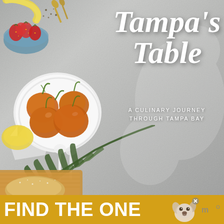[Figure (photo): Book cover for 'Tampa's Table: A Culinary Journey Through Tampa Bay'. Shows food items on a grey concrete surface: a bowl of strawberries and bananas top left, a white plate with cluster tomatoes center left, palm fronds, a wooden cutting board with bread at bottom left. A script title 'Tampa's Table' and subtitle 'A Culinary Journey Through Tampa Bay' overlay the right side in white text.]
Tampa's Table
A CULINARY JOURNEY THROUGH TAMPA BAY
[Figure (advertisement): Yellow/gold advertisement banner at the bottom reading 'FIND THE ONE' in bold white text, with a photo of a dog on the right side and a logo watermark.]